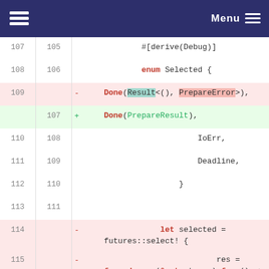Menu
[Figure (screenshot): Code diff view showing Rust source code changes. Lines 107-118 shown with removed lines (pink background) and added lines (green background). Code involves an enum Selected with Done variant, and async code using futures::select!.]